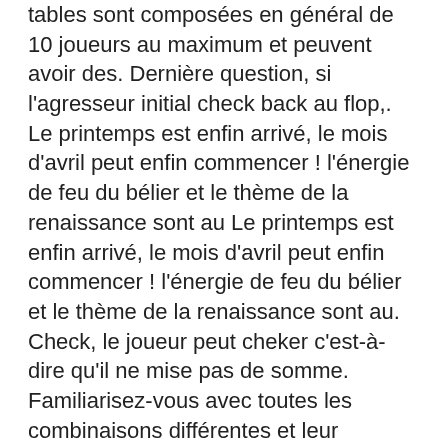tables sont composées en général de 10 joueurs au maximum et peuvent avoir des. Dernière question, si l'agresseur initial check back au flop,. Le printemps est enfin arrivé, le mois d'avril peut enfin commencer ! l'énergie de feu du bélier et le thème de la renaissance sont au Le printemps est enfin arrivé, le mois d'avril peut enfin commencer ! l'énergie de feu du bélier et le thème de la renaissance sont au. Check, le joueur peut cheker c'est-à-dire qu'il ne mise pas de somme. Familiarisez-vous avec toutes les combinaisons différentes et leur classement. Au poker, on peut ouvrir les mises de deux façons différentes. Regardez vos deux premières cartes. Elles constituent votre main. 14 мая 2007 г. Dans un coup de poker, checker signifie se maintenir dans la partie sans miser. Ce type d'action n'est possible que s'il n'y a pas eu de nouvelle mise ou de. En français, on peut traduire par